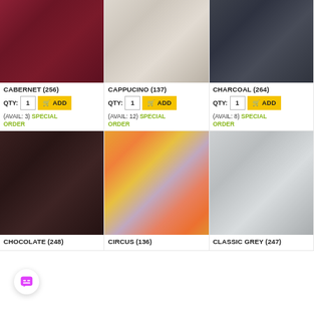[Figure (photo): Skeins of dark red/burgundy cabernet yarn]
CABERNET (256)
QTY: 1  ADD
(AVAIL: 3) SPECIAL ORDER
[Figure (photo): Skeins of beige/cream cappucino yarn]
CAPPUCINO (137)
QTY: 1  ADD
(AVAIL: 12) SPECIAL ORDER
[Figure (photo): Skeins of dark grey charcoal yarn]
CHARCOAL (264)
QTY: 1  ADD
(AVAIL: 8) SPECIAL ORDER
[Figure (photo): Skeins of dark brown chocolate yarn]
CHOCOLATE (248)
[Figure (photo): Multi-colored circus yarn with orange, yellow, pink, and lavender]
CIRCUS (136)
[Figure (photo): Skeins of light grey classic grey yarn]
CLASSIC GREY (247)